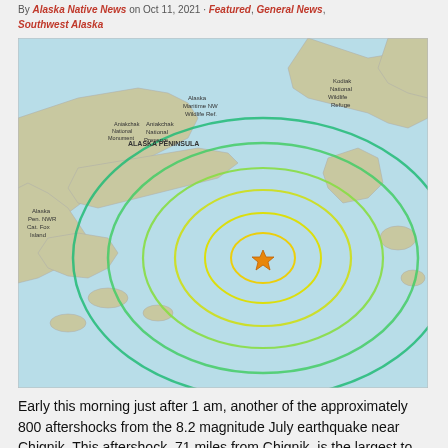By Alaska Native News on Oct 11, 2021 · Featured, General News, Southwest Alaska
[Figure (map): USGS earthquake map showing Alaska Peninsula region with concentric shockwave rings (green and yellow-green) centered near Chignik in the Pacific Ocean. An orange star marks the earthquake epicenter. Map labels include Alaska Peninsula, Aniakchak National Monument, Kodiak National Wildlife Refuge, and Alaska Peninsula NWR.]
Early this morning just after 1 am, another of the approximately 800 aftershocks from the 8.2 magnitude July earthquake near Chignik. This aftershock, 71 miles from Chignik, is the largest to strike in the series. USGS says that they expect the aftershocks to continue in the area. The